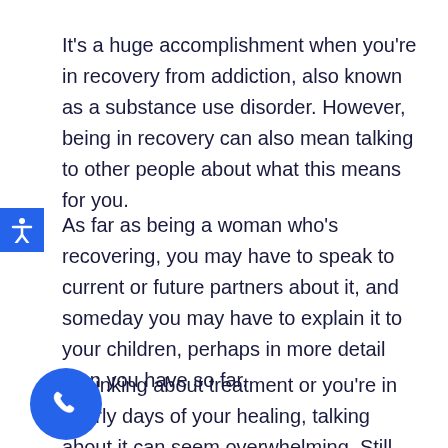It's a huge accomplishment when you're in recovery from addiction, also known as a substance use disorder. However, being in recovery can also mean talking to other people about what this means for you.
As far as being a woman who's recovering, you may have to speak to current or future partners about it, and someday you may have to explain it to your children, perhaps in more detail than you have so far.
e thinking about treatment or you're in the rly days of your healing, talking about it can seem overwhelming. Still, the recovery